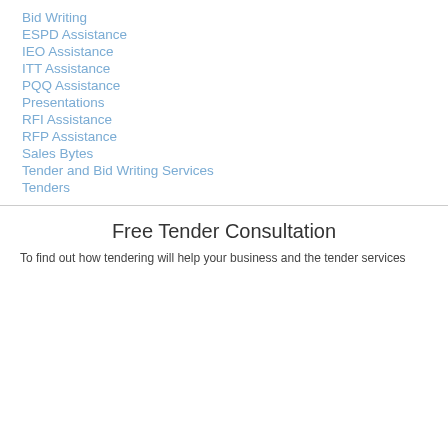Bid Writing
ESPD Assistance
IEO Assistance
ITT Assistance
PQQ Assistance
Presentations
RFI Assistance
RFP Assistance
Sales Bytes
Tender and Bid Writing Services
Tenders
Free Tender Consultation
To find out how tendering will help your business and the tender services